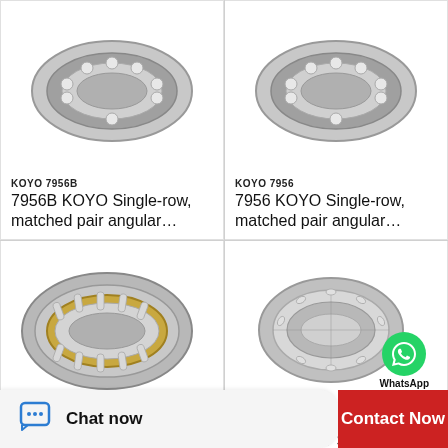[Figure (photo): KOYO 7956B single-row matched pair angular contact bearing, metallic, partial top crop]
KOYO 7956B
7956B KOYO Single-row, matched pair angular…
[Figure (photo): KOYO 7956 single-row matched pair angular contact bearing, metallic, partial top crop]
KOYO 7956
7956 KOYO Single-row, matched pair angular…
[Figure (photo): KOYO AC5438B single-row matched pair angular contact bearing with gold accents]
KOYO AC5438B
AC5438B KOYO Single-row, matched pair angula…
[Figure (photo): KOYO 7052B single-row matched pair angular contact bearing with WhatsApp Online overlay badge]
KOYO 7052B
7052B KOYO Single-row, matched pair angular…
Chat now
Contact Now